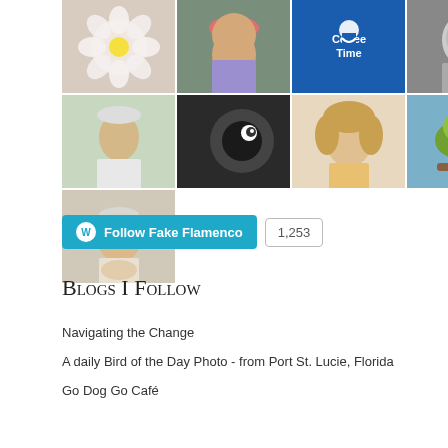[Figure (photo): Grid of 15 avatar/profile images arranged in 3 rows: row 1 has 7 avatars (flower, person with pink hat, CoffeeTime logo, child in black and white, person with yellow hat, woman in black and white, TYPE logo), row 2 has 7 avatars (older person, bird with eye, woman with curly hair, bird on branch, compass rose, pink flower, person with glasses), row 3 has 1 avatar (older man with glasses smiling)]
Follow Fake Flamenco  1,253
Blogs I Follow
Navigating the Change
A daily Bird of the Day Photo - from Port St. Lucie, Florida
Go Dog Go Café